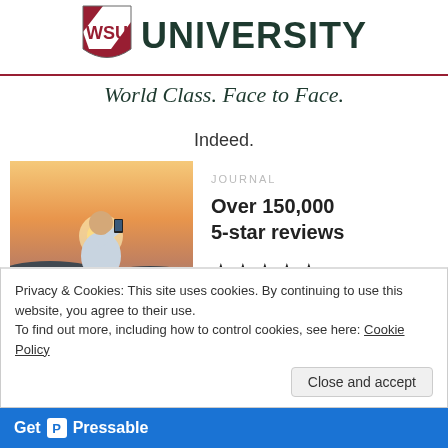[Figure (logo): Washington State University shield logo with WSU initials in red and white, next to the word UNIVERSITY in dark green bold text, with a red horizontal line beneath]
World Class. Face to Face.
Indeed.
[Figure (photo): Person seen from behind holding a phone up against a sunset/golden hour sky]
Over 150,000
5-star reviews
★★★★★
Privacy & Cookies: This site uses cookies. By continuing to use this website, you agree to their use.
To find out more, including how to control cookies, see here: Cookie Policy
Close and accept
Get Pressable